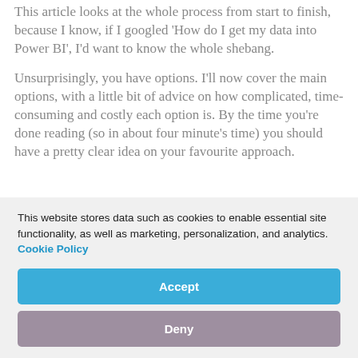This article looks at the whole process from start to finish, because I know, if I googled 'How do I get my data into Power BI', I'd want to know the whole shebang.
Unsurprisingly, you have options. I'll now cover the main options, with a little bit of advice on how complicated, time-consuming and costly each option is. By the time you're done reading (so in about four minute's time) you should have a pretty clear idea on your favourite approach.
This website stores data such as cookies to enable essential site functionality, as well as marketing, personalization, and analytics. Cookie Policy
Accept
Deny